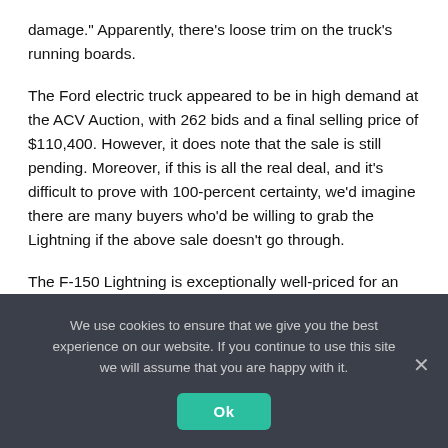damage." Apparently, there's loose trim on the truck's running boards.
The Ford electric truck appeared to be in high demand at the ACV Auction, with 262 bids and a final selling price of $110,400. However, it does note that the sale is still pending. Moreover, if this is all the real deal, and it's difficult to prove with 100-percent certainty, we'd imagine there are many buyers who'd be willing to grab the Lightning if the above sale doesn't go through.
The F-150 Lightning is exceptionally well-priced for an electric pickup truck, starting at around $40,000. There's not a whole lot of competition just yet, and rivals like the
We use cookies to ensure that we give you the best experience on our website. If you continue to use this site we will assume that you are happy with it.